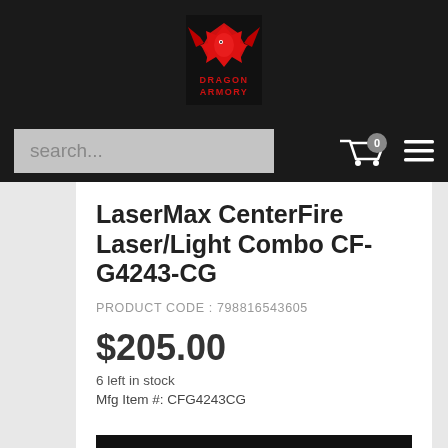[Figure (logo): Dragon Armory logo — red dragon silhouette on dark background with 'DRAGON ARMORY' text below]
LaserMax CenterFire Laser/Light Combo CF-G4243-CG
PRODUCT CODE : 798816543605
$205.00
6 left in stock
Mfg Item #: CFG4243CG
ADD TO CART